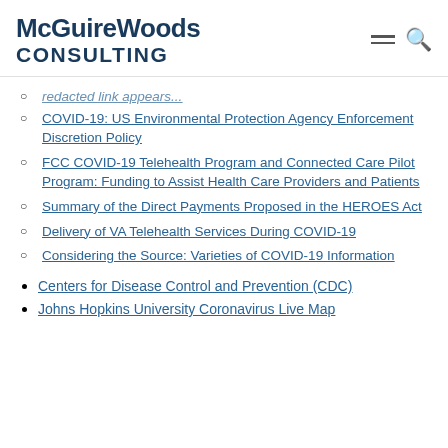McGuireWoods CONSULTING
[truncated link - partially visible]
COVID-19: US Environmental Protection Agency Enforcement Discretion Policy
FCC COVID-19 Telehealth Program and Connected Care Pilot Program: Funding to Assist Health Care Providers and Patients
Summary of the Direct Payments Proposed in the HEROES Act
Delivery of VA Telehealth Services During COVID-19
Considering the Source: Varieties of COVID-19 Information
Centers for Disease Control and Prevention (CDC)
Johns Hopkins University Coronavirus Live Map